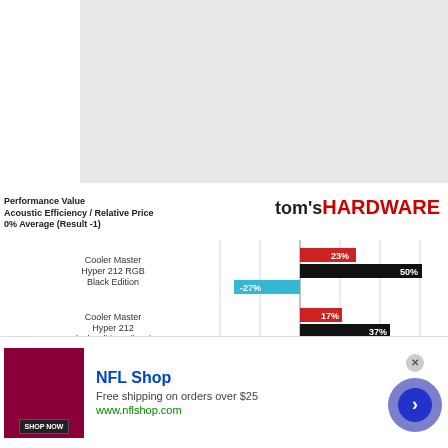[Figure (other): Gray placeholder image area at top of page]
[Figure (bar-chart): Performance Value — Acoustic Efficiency / Relative Price — 0% Average (Result -1)]
[Figure (advertisement): NFL Shop advertisement banner with red product image, shop now button, and circular arrow button]